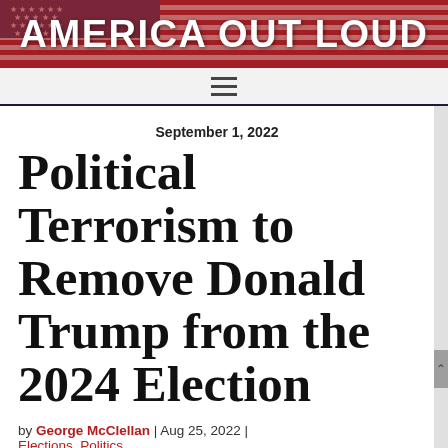AMERICA OUT LOUD
September 1, 2022
Political Terrorism to Remove Donald Trump from the 2024 Election
by George McClellan | Aug 25, 2022 | Elections, Politics